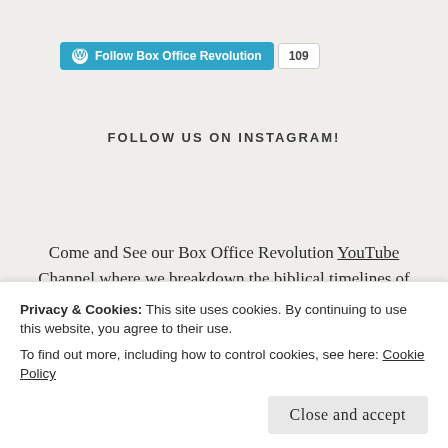[Figure (other): WordPress Follow button for 'Box Office Revolution' with follower count badge showing 109]
FOLLOW US ON INSTAGRAM!
Come and See our Box Office Revolution YouTube Channel where we breakdown the biblical timelines of the fresh new bible series The Chosen. Click on the picture below to view our latest video or find our channel in the link above.
Privacy & Cookies: This site uses cookies. By continuing to use this website, you agree to their use.
To find out more, including how to control cookies, see here: Cookie Policy
Close and accept